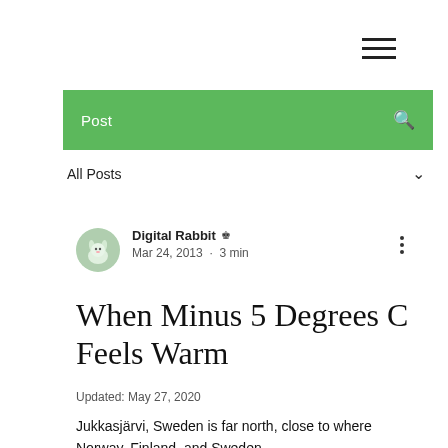☰ (hamburger menu)
Post
All Posts
Digital Rabbit 👑 Admin
Mar 24, 2013 · 3 min
When Minus 5 Degrees C Feels Warm
Updated: May 27, 2020
Jukkasjärvi, Sweden is far north, close to where Norway, Finland, and Sweden